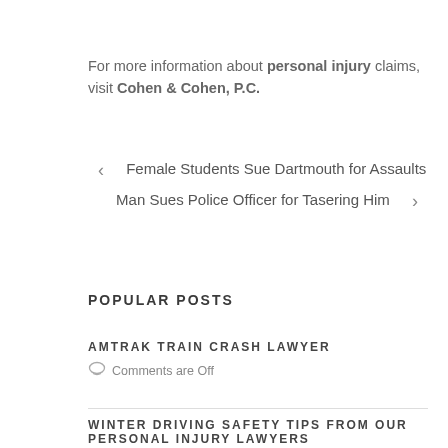For more information about personal injury claims, visit Cohen & Cohen, P.C.
< Female Students Sue Dartmouth for Assaults
Man Sues Police Officer for Tasering Him >
POPULAR POSTS
AMTRAK TRAIN CRASH LAWYER
Comments are Off
WINTER DRIVING SAFETY TIPS FROM OUR PERSONAL INJURY LAWYERS
Comments are Off